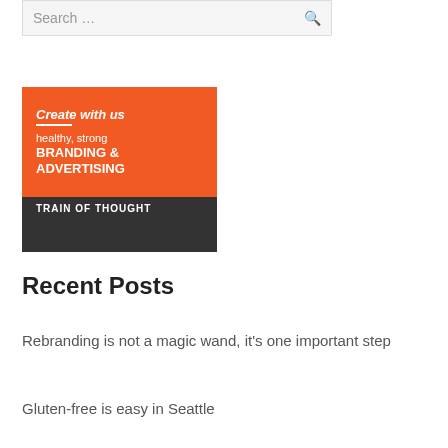Search …
[Figure (illustration): Orange and dark gray advertisement block reading 'Create with us healthy, strong BRANDING & ADVERTISING TRAIN OF THOUGHT' with chevron pattern at bottom]
Recent Posts
Rebranding is not a magic wand, it's one important step
Gluten-free is easy in Seattle